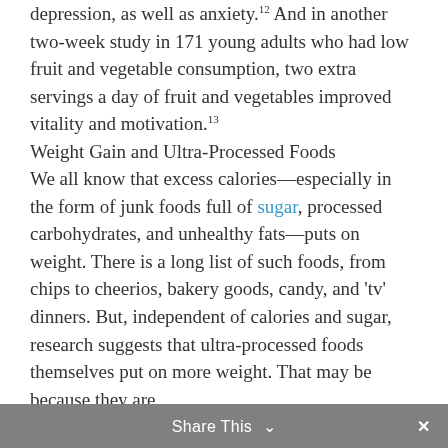depression, as well as anxiety.¹² And in another two-week study in 171 young adults who had low fruit and vegetable consumption, two extra servings a day of fruit and vegetables improved vitality and motivation.¹³
Weight Gain and Ultra-Processed Foods We all know that excess calories—especially in the form of junk foods full of sugar, processed carbohydrates, and unhealthy fats—puts on weight. There is a long list of such foods, from chips to cheerios, bakery goods, candy, and 'tv' dinners. But, independent of calories and sugar, research suggests that ultra-processed foods themselves put on more weight. That may be because they are
Share This ∨  ×